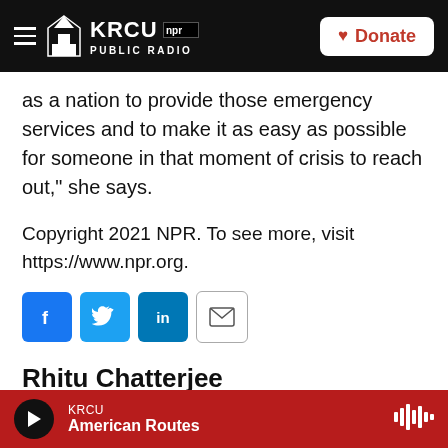KRCU NPR PUBLIC RADIO | Donate
as a nation to provide those emergency services and to make it as easy as possible for someone in that moment of crisis to reach out," she says.
Copyright 2021 NPR. To see more, visit https://www.npr.org.
[Figure (infographic): Social sharing buttons: Facebook (f), Twitter (bird), LinkedIn (in), Email (envelope icon)]
Rhitu Chatterjee
Rhitu Chatterjee is a health correspondent with NPR, with
KRCU | American Routes